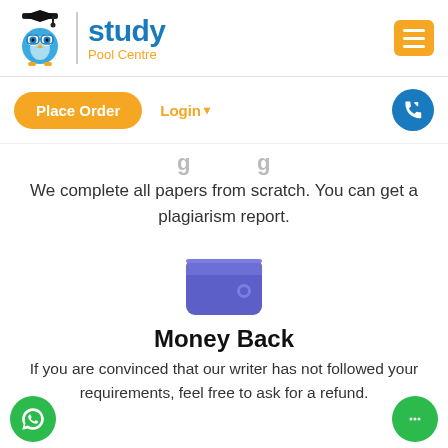[Figure (logo): Study Pool Centre logo with owl mascot wearing graduation cap, blue owl icon, vertical divider, 'study' in blue bold text and 'Pool Centre' in orange below]
[Figure (illustration): Orange hamburger menu button in top right corner]
[Figure (illustration): Orange pill-shaped Place Order button, orange Login dropdown text, blue phone circle icon]
We complete all papers from scratch. You can get a plagiarism report.
[Figure (illustration): Purple/indigo wallet icon with white card slot dot]
Money Back
If you are convinced that our writer has not followed your requirements, feel free to ask for a refund.
[Figure (illustration): Green WhatsApp circle button bottom left, green chat circle button bottom right]